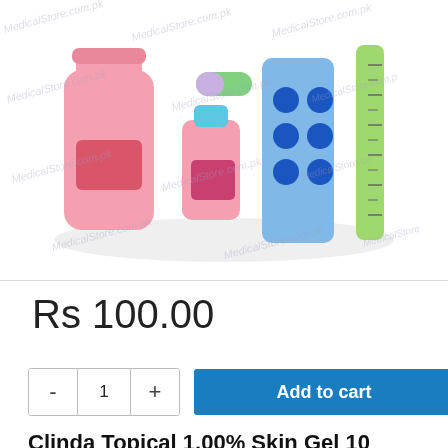[Figure (illustration): Illustration of medical/pharmaceutical products: a pink bottle, a small pink injection vial, a blue blister pack with blue pills, and a green measuring cylinder/thermometer. Watermarks reading 'MedicalStore.com.pk' appear across the image.]
Rs 100.00
- 1 + Add to cart
Clinda Topical 1.00% Skin Gel 10 G